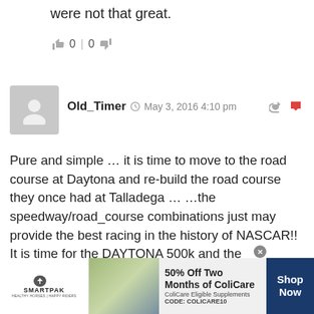were not that great.
👍 0 | 0 👎
[Figure (other): User avatar placeholder - grey silhouette of a person]
Old_Timer  May 3, 2016 4:10 pm
Pure and simple … it is time to move to the road course at Daytona and re-build the road course they once had at Talladega … …the speedway/road_course combinations just may provide the best racing in the history of NASCAR!! It is time for the DAYTONA 500k and the FIRECRACKER 400k … and the ALABAMA 500k and the TALLADEGA 400k (yes, I said 400 … as I have said before, when a track hosts two events, they
[Figure (other): SmartPak advertisement banner: 50% Off Two Months of ColiCare, ColiCare Eligible Supplements, CODE: COLICARE10, Shop Now]